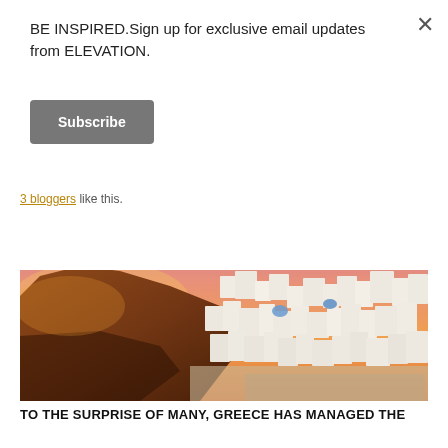BE INSPIRED.Sign up for exclusive email updates from ELEVATION.
Subscribe
3 bloggers like this.
[Figure (photo): Aerial sunset view of Santorini, Greece, showing white-washed buildings on a clifftop with orange and pink sky.]
TO THE SURPRISE OF MANY, GREECE HAS MANAGED THE